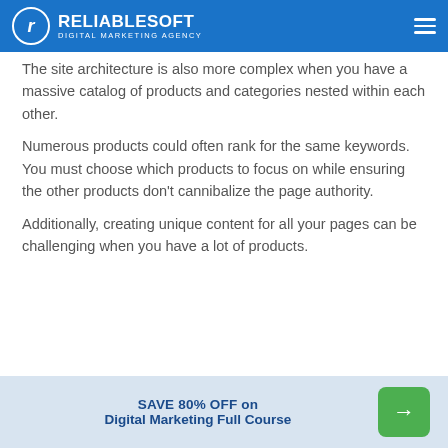RELIABLESOFT DIGITAL MARKETING AGENCY
The site architecture is also more complex when you have a massive catalog of products and categories nested within each other.
Numerous products could often rank for the same keywords. You must choose which products to focus on while ensuring the other products don't cannibalize the page authority.
Additionally, creating unique content for all your pages can be challenging when you have a lot of products.
SAVE 80% OFF on Digital Marketing Full Course